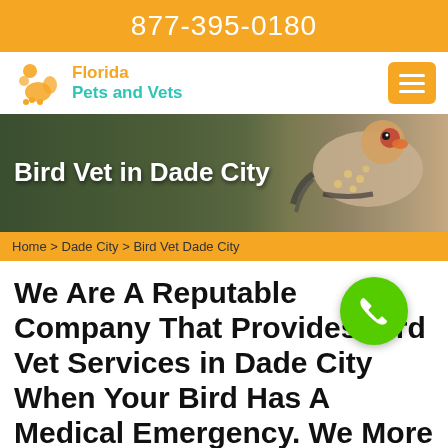877-395-0180
[Figure (logo): Florida Pets and Vets logo with orange animal icon and teal/orange text]
[Figure (photo): Hero banner photo of a bird (finch) perched, with overlay text 'Bird Vet in Dade City']
Home > Dade City > Bird Vet Dade City
We Are A Reputable Company That Provides Bird Vet Services in Dade City When Your Bird Has A Medical Emergency. We More Offer Mobile Bird Vet